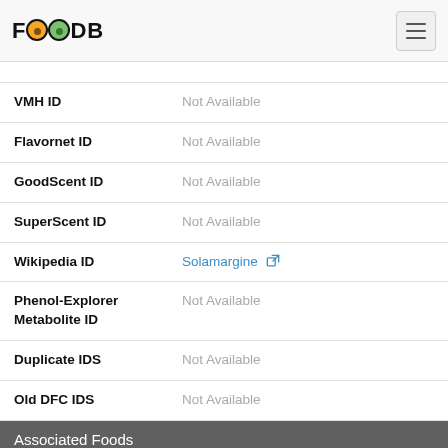FOODB
| Field | Value |
| --- | --- |
| VMH ID | Not Available |
| Flavornet ID | Not Available |
| GoodScent ID | Not Available |
| SuperScent ID | Not Available |
| Wikipedia ID | Solamargine |
| Phenol-Explorer Metabolite ID | Not Available |
| Duplicate IDS | Not Available |
| Old DFC IDS | Not Available |
Associated Foods